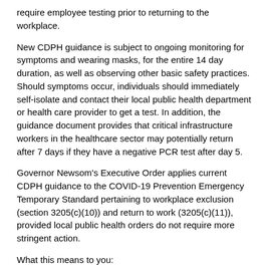require employee testing prior to returning to the workplace.
New CDPH guidance is subject to ongoing monitoring for symptoms and wearing masks, for the entire 14 day duration, as well as observing other basic safety practices. Should symptoms occur, individuals should immediately self-isolate and contact their local public health department or health care provider to get a test. In addition, the guidance document provides that critical infrastructure workers in the healthcare sector may potentially return after 7 days if they have a negative PCR test after day 5.
Governor Newsom’s Executive Order applies current CDPH guidance to the COVID-19 Prevention Emergency Temporary Standard pertaining to workplace exclusion (section 3205(c)(10)) and return to work (3205(c)(11)), provided local public health orders do not require more stringent action.
What this means to you:
Those without any COVID-19 symptoms may discontinue their quarantine after 10 days from their last exposure without